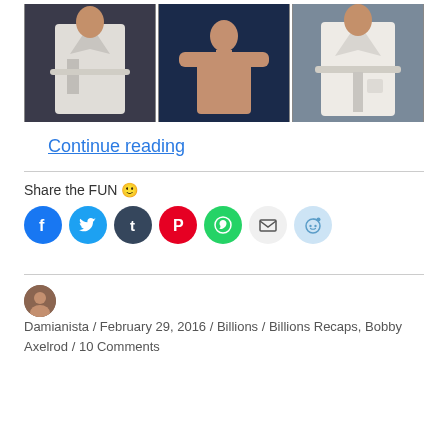[Figure (photo): Three side-by-side photos of a man in white robes/bathrobe scenes from a TV show]
Continue reading
Share the FUN 🙂
[Figure (infographic): Social share buttons: Facebook, Twitter, Tumblr, Pinterest, WhatsApp, Email, Reddit]
Damianista / February 29, 2016 / Billions / Billions Recaps, Bobby Axelrod / 10 Comments